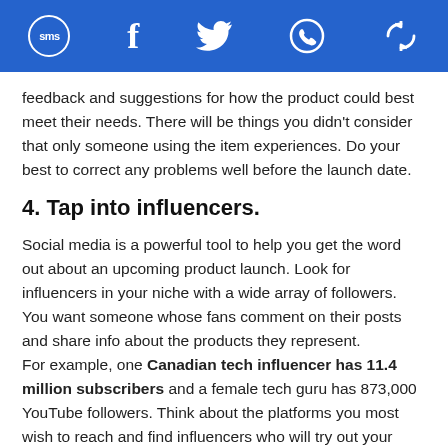SMS | f | Twitter | WhatsApp | Share
feedback and suggestions for how the product could best meet their needs. There will be things you didn't consider that only someone using the item experiences. Do your best to correct any problems well before the launch date.
4. Tap into influencers.
Social media is a powerful tool to help you get the word out about an upcoming product launch. Look for influencers in your niche with a wide array of followers. You want someone whose fans comment on their posts and share info about the products they represent.
For example, one Canadian tech influencer has 11.4 million subscribers and a female tech guru has 873,000 YouTube followers. Think about the platforms you most wish to reach and find influencers who will try out your product and get the